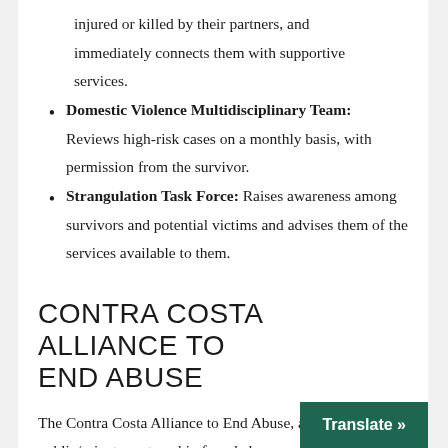injured or killed by their partners, and immediately connects them with supportive services.
Domestic Violence Multidisciplinary Team: Reviews high-risk cases on a monthly basis, with permission from the survivor.
Strangulation Task Force: Raises awareness among survivors and potential victims and advises them of the services available to them.
CONTRA COSTA ALLIANCE TO END ABUSE
The Contra Costa Alliance to End Abuse, a public/private partnership founded